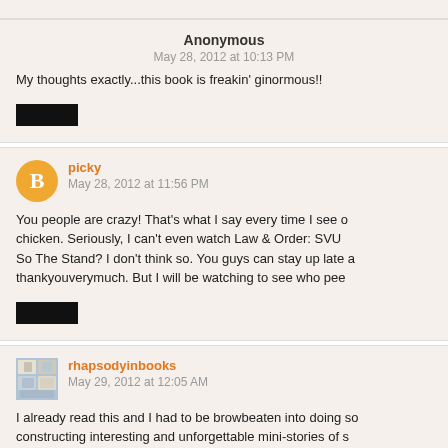Anonymous
May 28, 2012 at 10:13 PM
My thoughts exactly...this book is freakin' ginormous!!
picky
May 28, 2012 at 11:56 PM
You people are crazy! That's what I say every time I see or chicken. Seriously, I can't even watch Law & Order: SVU So The Stand? I don't think so. You guys can stay up late a thankyouverymuch. But I will be watching to see who pee
rhapsodyinbooks
May 29, 2012 at 12:05 AM
I already read this and I had to be browbeaten into doing so constructing interesting and unforgettable mini-stories of s